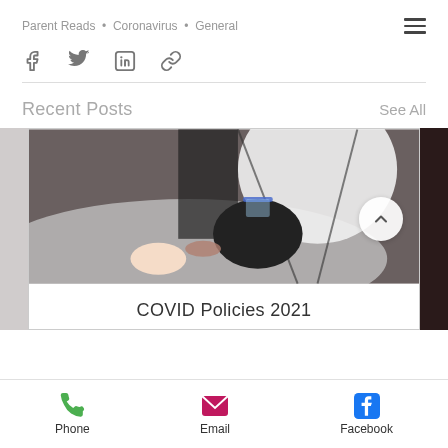Parent Reads · Coronavirus · General
[Figure (other): Social share icons: Facebook, Twitter, LinkedIn, link/chain]
Recent Posts
See All
[Figure (photo): Photographer or artist working over a baby on a white fluffy surface in a photography studio with lighting equipment visible. An up/scroll button is overlaid.]
COVID Policies 2021
Phone   Email   Facebook